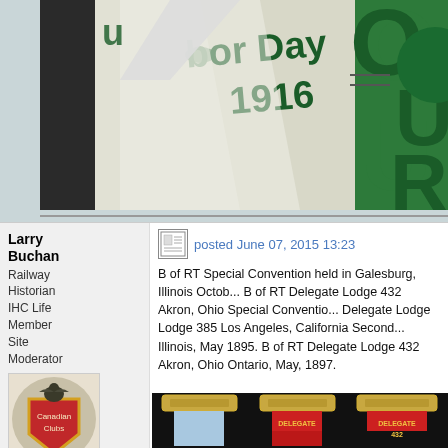[Figure (photo): Photo of a document showing 'Labor Day 1916' text with green lettering, partially folded pages visible]
Larry Buchan
Railway Historian
IHC Life Member
Site Moderator
[Figure (photo): Avatar image showing a circular badge/emblem with a bird (Canadian Clubs logo)]
posted June 07, 2015 13:23
B of RT Special Convention held in Galesburg, Illinois Octob... B of RT Delegate Lodge 432 Akron, Ohio Special Conventio... Delegate Lodge Lodge 385 Los Angeles, California Second... Illinois, May 1895. B of RT Delegate Lodge 432 Akron, Ohio Ontario, May, 1897.
[Figure (photo): Photo of delegate badges/ribbons on dark background, showing ornate gold badge holders with blue and red ribbons labeled DELEGATE]